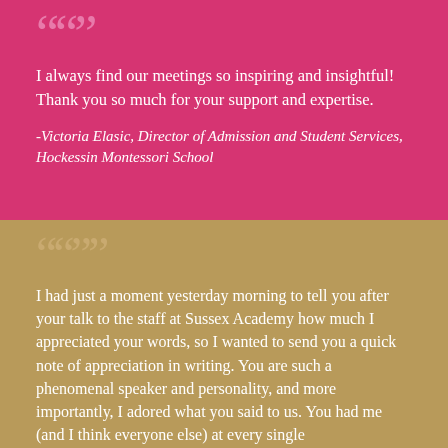““”
I always find our meetings so inspiring and insightful!  Thank you so much for your support and expertise.
-Victoria Elasic, Director of Admission and Student Services, Hockessin Montessori School
““””
I had just a moment yesterday morning to tell you after your talk to the staff at Sussex Academy how much I appreciated your words, so I wanted to send you a quick note of appreciation in writing. You are such a phenomenal speaker and personality, and more importantly, I adored what you said to us. You had me (and I think everyone else) at every single